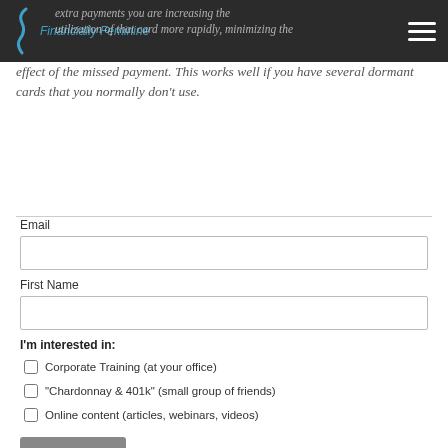Financially Feminine
extra payments you are increasing the utilization of that card more rapidly, minimizing the effect of the missed payment. This works well if you have several dormant cards that you normally don't use.
Email
First Name
I'm interested in:
Corporate Training (at your office)
"Chardonnay & 401k" (small group of friends)
Online content (articles, webinars, videos)
Submit